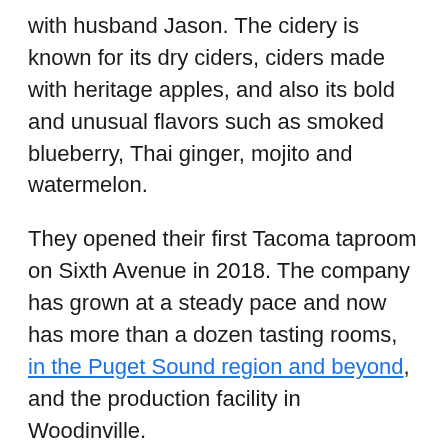with husband Jason. The cidery is known for its dry ciders, ciders made with heritage apples, and also its bold and unusual flavors such as smoked blueberry, Thai ginger, mojito and watermelon.
They opened their first Tacoma taproom on Sixth Avenue in 2018. The company has grown at a steady pace and now has more than a dozen tasting rooms, in the Puget Sound region and beyond, and the production facility in Woodinville.
“We outgrew Woodinville, the space there, a while ago,” said Spears. “We can’t be as efficient and do what we want in the space that we have.”
Woodinville will stay put as a production facility for